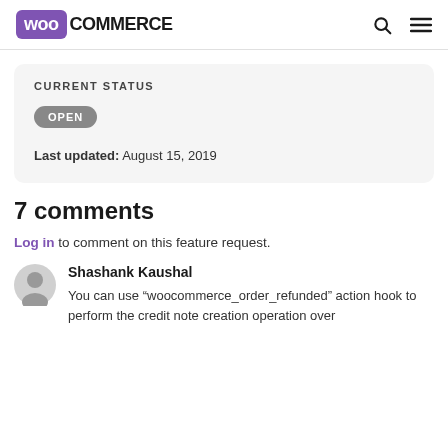WooCommerce
CURRENT STATUS
OPEN
Last updated: August 15, 2019
7 comments
Log in to comment on this feature request.
Shashank Kaushal
You can use “woocommerce_order_refunded” action hook to perform the credit note creation operation over